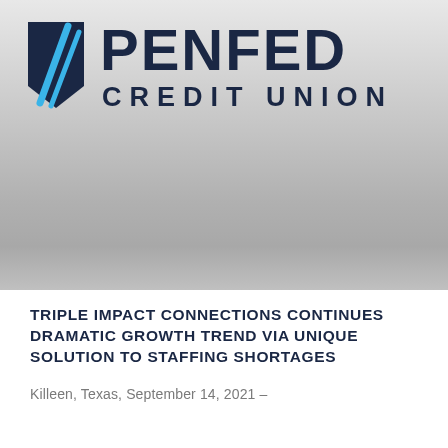[Figure (logo): PenFed Credit Union logo — navy pentagon shield icon with light-blue diagonal stripes on the left, bold dark navy text 'PENFED' on top and 'CREDIT UNION' below on the right, on a gray gradient background.]
TRIPLE IMPACT CONNECTIONS CONTINUES DRAMATIC GROWTH TREND VIA UNIQUE SOLUTION TO STAFFING SHORTAGES
Killeen, Texas, September 14, 2021 –